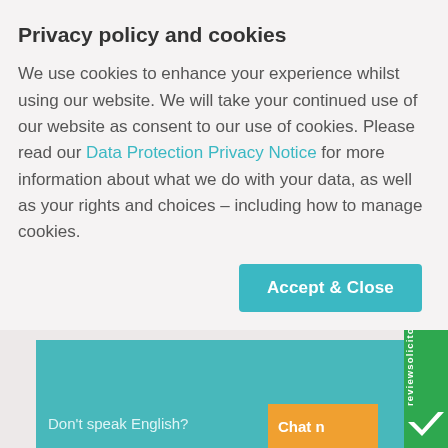Privacy policy and cookies
We use cookies to enhance your experience whilst using our website. We will take your continued use of our website as consent to our use of cookies. Please read our Data Protection Privacy Notice for more information about what we do with your data, as well as your rights and choices – including how to manage cookies.
[Figure (screenshot): Accept & Close button (teal/cyan background, white bold text)]
[Figure (screenshot): reviewsolicitors green sidebar widget with white logo checkmark and vertical text]
Don't speak English?
Chat n